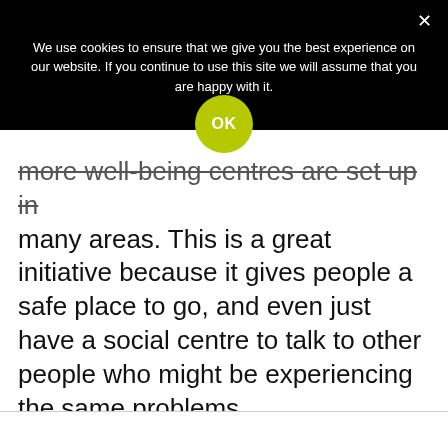We use cookies to ensure that we give you the best experience on our website. If you continue to use this site we will assume that you are happy with it.
OK
more well-being centres are set up in many areas. This is a great initiative because it gives people a safe place to go, and even just have a social centre to talk to other people who might be experiencing the same problems.